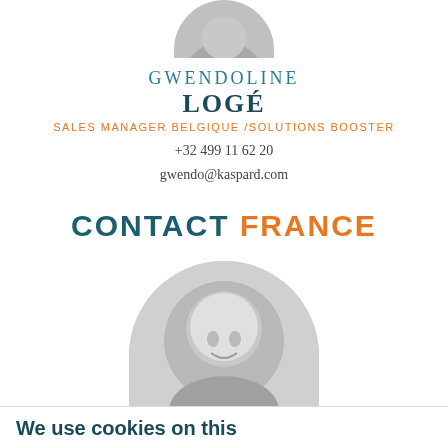[Figure (photo): Circular black and white portrait photo of Gwendoline Logé, partially cropped at top]
GWENDOLINE LOGÉ
SALES MANAGER BELGIQUE /SOLUTIONS BOOSTER
+32 499 11 62 20
gwendo@kaspard.com
CONTACT FRANCE
[Figure (photo): Circular black and white portrait photo of a bald man, partially cropped at bottom]
We use cookies on this